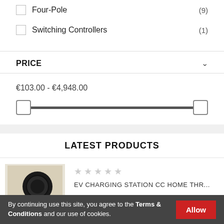Four-Pole (9)
Switching Controllers (1)
PRICE
€103.00 - €4,948.00
LATEST PRODUCTS
[Figure (photo): EV charging station wall-mounted unit with cable]
EV CHARGING STATION CC HOME THR...
€1,652.67
By continuing use this site, you agree to the Terms & Conditions and our use of cookies.